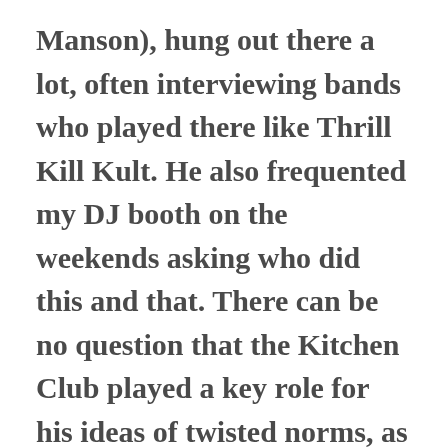Manson), hung out there a lot, often interviewing bands who played there like Thrill Kill Kult. He also frequented my DJ booth on the weekends asking who did this and that. There can be no question that the Kitchen Club played a key role for his ideas of twisted norms, as well as for his musical ones. Because that's what the entire